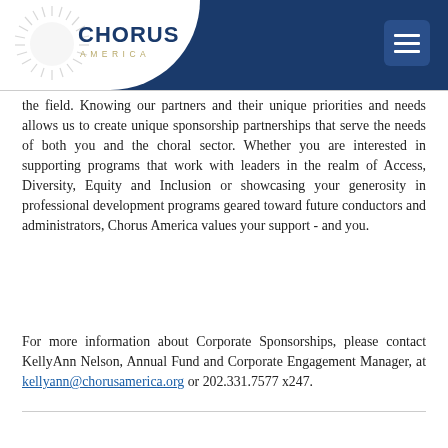[Figure (logo): Chorus America logo with sunburst graphic, bold dark blue CHORUS text and gold AMERICA lettermark]
the field. Knowing our partners and their unique priorities and needs allows us to create unique sponsorship partnerships that serve the needs of both you and the choral sector. Whether you are interested in supporting programs that work with leaders in the realm of Access, Diversity, Equity and Inclusion or showcasing your generosity in professional development programs geared toward future conductors and administrators, Chorus America values your support - and you.
For more information about Corporate Sponsorships, please contact KellyAnn Nelson, Annual Fund and Corporate Engagement Manager, at kellyann@chorusamerica.org or 202.331.7577 x247.